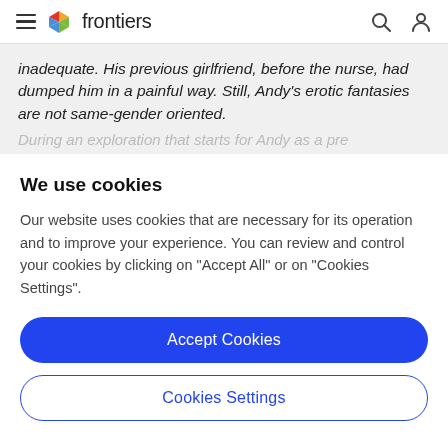frontiers
inadequate. His previous girlfriend, before the nurse, had dumped him in a painful way. Still, Andy's erotic fantasies are not same-gender oriented.
We use cookies
Our website uses cookies that are necessary for its operation and to improve your experience. You can review and control your cookies by clicking on "Accept All" or on "Cookies Settings".
Accept Cookies
Cookies Settings